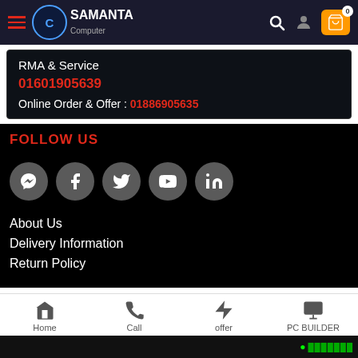Samanta Computer - navigation header with logo, search, user, and cart icons
RMA & Service
01601905639
Online Order & Offer : 01886905635
FOLLOW US
[Figure (infographic): Five social media icon buttons (Messenger, Facebook, Twitter, YouTube, LinkedIn) displayed as grey circles with white icons]
About Us
Delivery Information
Return Policy
Home | Call | offer | PC BUILDER - bottom navigation bar